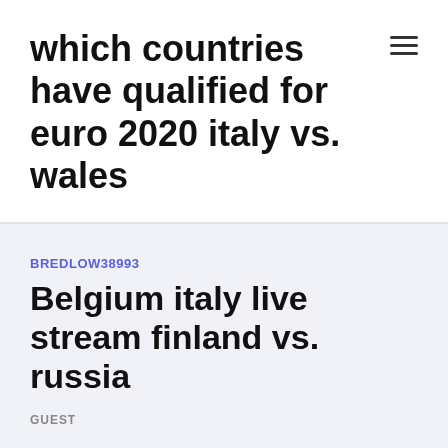which countries have qualified for euro 2020 italy vs. wales
BREDLOW38993
Belgium italy live stream finland vs. russia
GUEST
Eurocups - European Championship. 12 June 2021.
The Red Devils cruised to qualification as they won